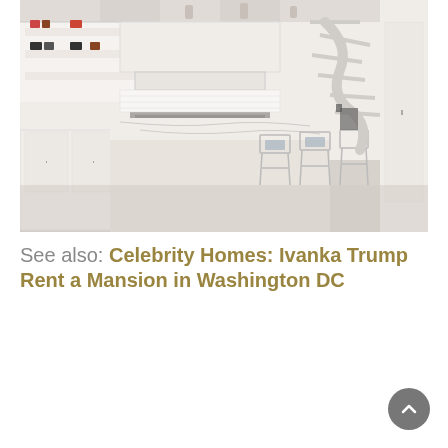[Figure (photo): Interior photo of a modern luxury kitchen with white cabinetry, marble island with wire bar stools, stainless steel range with white hood, open shelving with colorful items, and a white spiral staircase in the background.]
See also: Celebrity Homes: Ivanka Trump Rent a Mansion in Washington DC